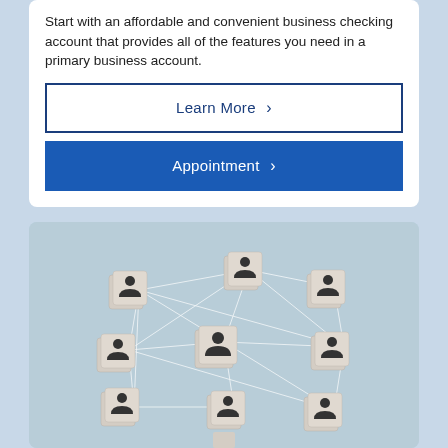Start with an affordable and convenient business checking account that provides all of the features you need in a primary business account.
Learn More ›
Appointment ›
[Figure (photo): Photo of wooden cube blocks with person/user icons connected by white lines on a light blue background, suggesting a network of people or contacts.]